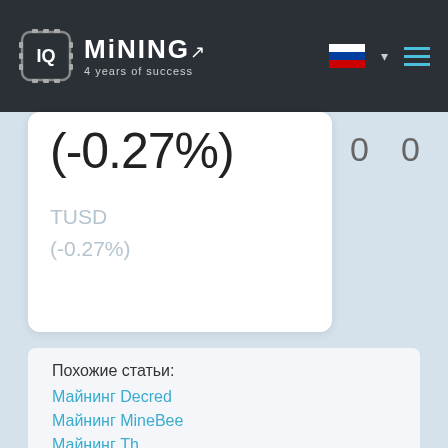IQ MINING 4 years of success
(-0.27%)
0   0
TUSD (-0.27%)
Похожие статьи:
Майнинг Decred
Майнинг MineBee
Майнинг Th...